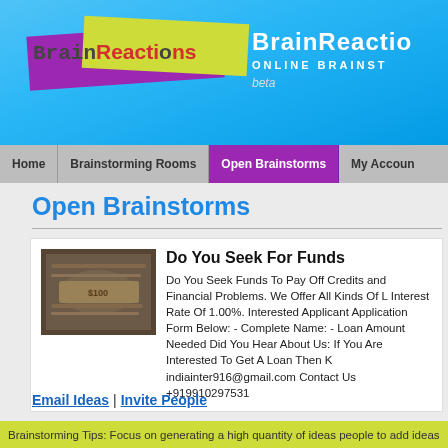BrainReactions - ONLINE BRAINSTORMING - beta
Home | Brainstorming Rooms | Open Brainstorms | My Account
Open Brainstorms
[Figure (photo): Photo of US dollar bills/money]
Do You Seek For Funds
Do You Seek Funds To Pay Off Credits and Financial Problems. We Offer All Kinds Of L Interest Rate Of 1.00%. Interested Applicant Application Form Below: - Complete Name: - Loan Amount Needed Did You Hear About Us: If You Are Interested To Get A Loan Then K indiainter916@gmail.com Contact Us +919910297531
Email Ideas | Invite People
Brainstorming Tips: Focus on generating a high quantity of ideas people to add ideas